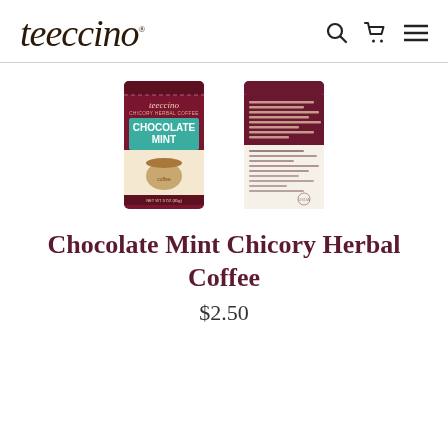[Figure (logo): Teeccino brand logo in italic serif script with registered trademark dot]
[Figure (photo): Two product images: front and back of a Teeccino Chocolate Mint Chicory Herbal Coffee packet. Front shows maroon/dark red bag with teal band reading 'Chocolate Mint'. Back shows the nutrition/ingredient label side of the same packet.]
Chocolate Mint Chicory Herbal Coffee
$2.50